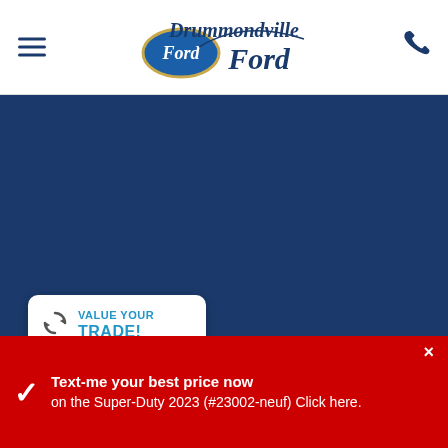Drummondville Ford — navigation header with logo and phone icon
[Figure (illustration): Dark navy blue background area occupying the main content region of the page, likely showing a vehicle image that is not visible at this crop]
VALUE YOUR TRADE!
Text-me your best price now on the Super-Duty 2023 (#23002-neuf) Click here.